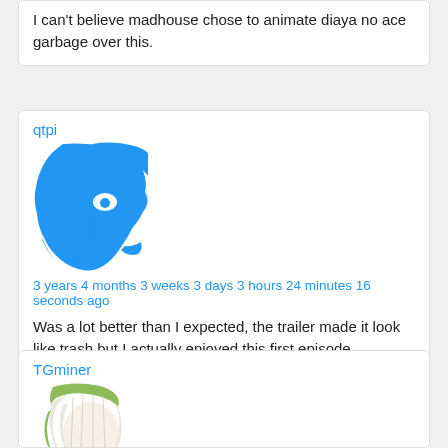I can't believe madhouse chose to animate diaya no ace garbage over this.
qtpi
[Figure (illustration): Blue silhouette avatar of an anime character face, profile view, in solid blue color on white background]
3 years 4 months 3 weeks 3 days 3 hours 24 minutes 16 seconds ago
Was a lot better than I expected, the trailer made it look like trash but I actually enjoyed this first episode.
TGminer
[Figure (illustration): Anime character avatar showing a character with white/green hair, wearing light colored clothing with a black arrow/symbol on it, drawn in manga style]